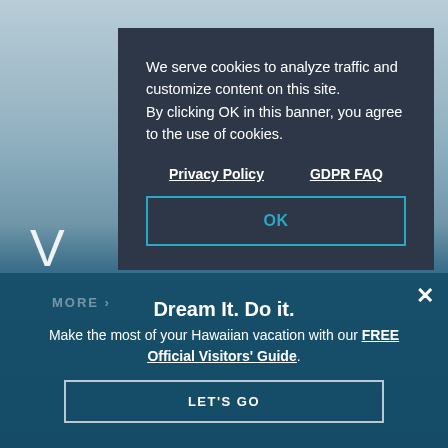[Figure (screenshot): Background beach/ocean photo with blue sky and water, person visible in lower portion]
We serve cookies to analyze traffic and customize content on this site. By clicking OK in this banner, you agree to the use of cookies.
Privacy Policy    GDPR FAQ
OK
Dream It. Do it.
Make the most of your Hawaiian vacation with our FREE Official Visitors' Guide.
LET'S GO